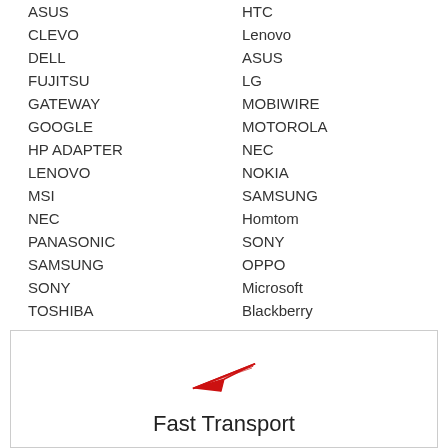ASUS
CLEVO
DELL
FUJITSU
GATEWAY
GOOGLE
HP ADAPTER
LENOVO
MSI
NEC
PANASONIC
SAMSUNG
SONY
TOSHIBA
HTC
Lenovo
ASUS
LG
MOBIWIRE
MOTOROLA
NEC
NOKIA
SAMSUNG
Homtom
SONY
OPPO
Microsoft
Blackberry
[Figure (illustration): Red paper airplane icon with Fast Transport label below]